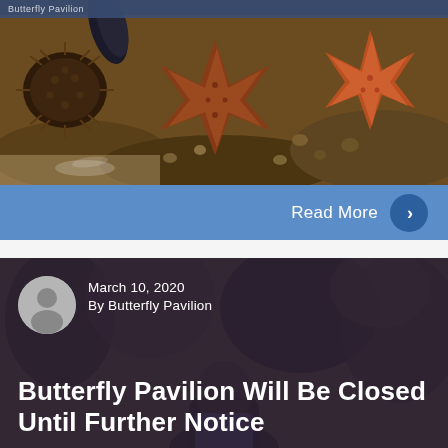Butterfly Pavilion
[Figure (photo): Close-up photograph of tide pool creatures including starfish (sea stars), sea urchins, and mussels on rocky surface in an aquarium or tide pool exhibit]
Read More
[Figure (photo): Blog post card with dark muted purple/brown background showing a person in background, with avatar icon, date, author, and article title overlay]
March 10, 2020
By Butterfly Pavilion
Butterfly Pavilion Will Be Closed Until Further Notice